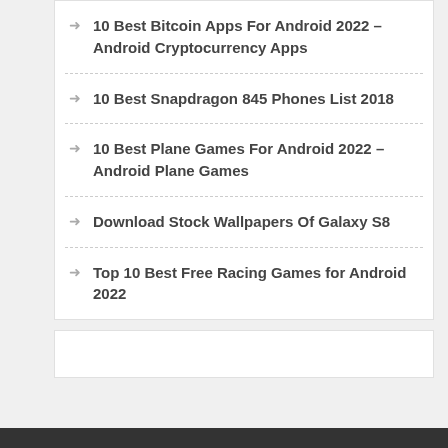10 Best Bitcoin Apps For Android 2022 – Android Cryptocurrency Apps
10 Best Snapdragon 845 Phones List 2018
10 Best Plane Games For Android 2022 – Android Plane Games
Download Stock Wallpapers Of Galaxy S8
Top 10 Best Free Racing Games for Android 2022